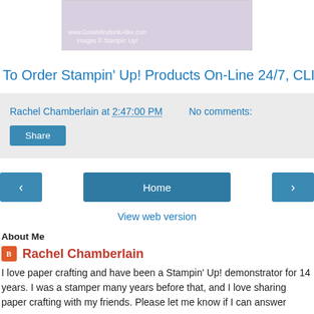[Figure (photo): Partial photo of purple/lavender paper or envelopes with watermark text 'www.GreatMindsInkAlike.com' and 'images © Stampin' Up!']
To Order Stampin' Up! Products On-Line 24/7, CLICK HERE!
Rachel Chamberlain at 2:47:00 PM    No comments:
Share
‹  Home  ›
View web version
About Me
Rachel Chamberlain
I love paper crafting and have been a Stampin' Up! demonstrator for 14 years. I was a stamper many years before that, and I love sharing paper crafting with my friends. Please let me know if I can answer